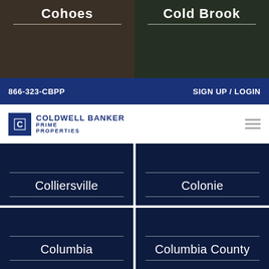[Figure (photo): Left photo card partially visible at top showing kitchen interior with bar stools, labeled 'Cohoes']
[Figure (photo): Right photo card partially visible at top showing outdoor/garden scene, labeled 'Cold Brook']
866-323-CBPP    SIGN UP / LOGIN
[Figure (logo): Coldwell Banker Prime Properties logo with CB icon and hamburger menu]
Colliersville
Colonie
Columbia
Columbia County